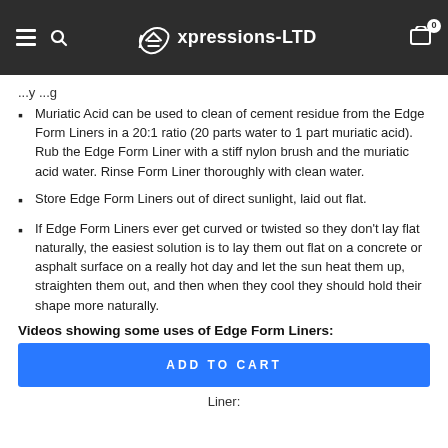Expressions-LTD
...laying...
Muriatic Acid can be used to clean of cement residue from the Edge Form Liners in a 20:1 ratio (20 parts water to 1 part muriatic acid). Rub the Edge Form Liner with a stiff nylon brush and the muriatic acid water. Rinse Form Liner thoroughly with clean water.
Store Edge Form Liners out of direct sunlight, laid out flat.
If Edge Form Liners ever get curved or twisted so they don't lay flat naturally, the easiest solution is to lay them out flat on a concrete or asphalt surface on a really hot day and let the sun heat them up, straighten them out, and then when they cool they should hold their shape more naturally.
Videos showing some uses of Edge Form Liners:
ADD TO CART
Liner: